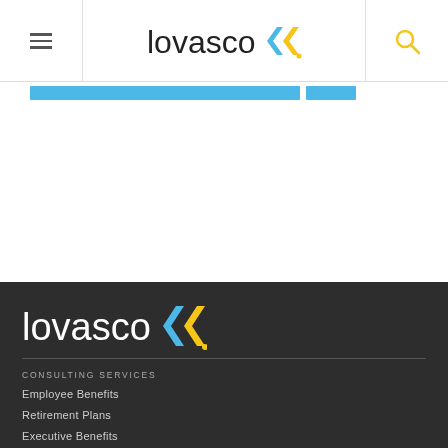lovasco [logo with chevron icon] — hamburger menu left, search icon right
[Figure (screenshot): Blue progress/loading bar strip beneath the header navigation]
[Figure (logo): Lovasco logo in footer: 'lovasco' in white text with blue and yellow chevron icon]
CONSULTING SERVICES
Employee Benefits
Retirement Plans
Executive Benefits